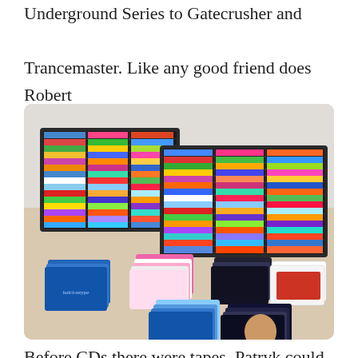Underground Series to Gatecrusher and Trancemaster. Like any good friend does Robert introduced Patryk to those quality tunes.
[Figure (photo): Photo of two black CD storage rack units filled with hundreds of CDs, with several CD albums and multi-disc sets scattered on the table in front of them. The CD racks are on a wooden surface against a light wall.]
Before CDs there were tapes. Patryk could borrow...